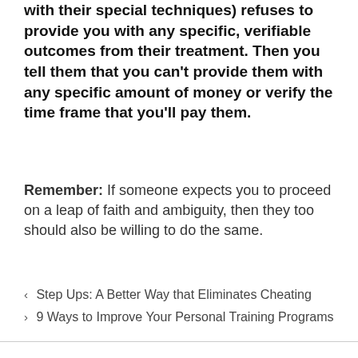with their special techniques) refuses to provide you with any specific, verifiable outcomes from their treatment. Then you tell them that you can't provide them with any specific amount of money or verify the time frame that you'll pay them.
Remember: If someone expects you to proceed on a leap of faith and ambiguity, then they too should also be willing to do the same.
< Step Ups: A Better Way that Eliminates Cheating
> 9 Ways to Improve Your Personal Training Programs